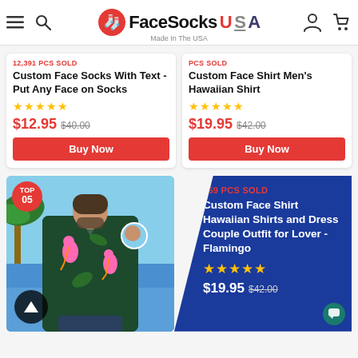FaceSocks USA — Navigation bar with hamburger, search, logo, account, cart
12,391 PCS SOLD
Custom Face Socks With Text -Put Any Face on Socks
★★★★★
$12.95  $40.00
Buy Now
PCS SOLD
Custom Face Shirt Men's Hawaiian Shirt
★★★★★
$19.95  $42.00
Buy Now
[Figure (photo): Man wearing custom face Hawaiian shirt with flamingo print, tropical beach background, TOP 05 badge]
569 PCS SOLD
Custom Face Shirt Hawaiian Shirts and Dress Couple Outfit for Lover - Flamingo
★★★★★
$19.95  $42.00